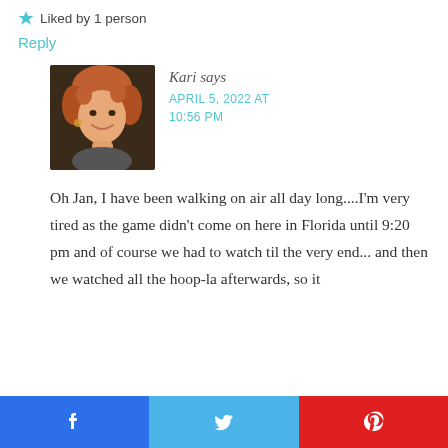Liked by 1 person
Reply
[Figure (photo): Profile photo of a woman with short reddish-brown hair, smiling, wearing earrings]
Kari says
APRIL 5, 2022 AT 10:56 PM
Oh Jan, I have been walking on air all day long....I'm very tired as the game didn't come on here in Florida until 9:20 pm and of course we had to watch til the very end... and then we watched all the hoop-la afterwards, so it
[Figure (other): Social share buttons: Facebook, Twitter, Pinterest]